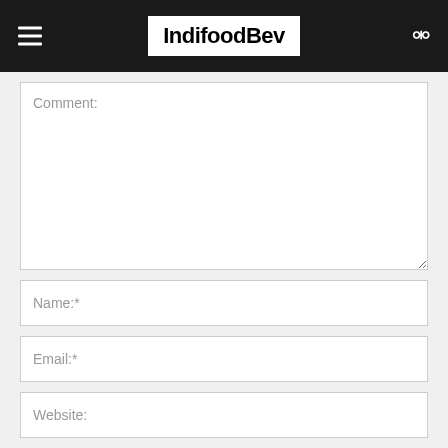IndifoodBev
Comment:
Name:*
Email:*
Website:
Save my name, email, and website in this browser for the next time I comment.